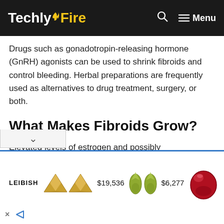TechlyFire — Search — Menu
Drugs such as gonadotropin-releasing hormone (GnRH) agonists can be used to shrink fibroids and control bleeding. Herbal preparations are frequently used as alternatives to drug treatment, surgery, or both.
What Makes Fibroids Grow?
Elevated levels of estrogen and possibly osterone (female hormones) seem to stimulate
[Figure (screenshot): Advertisement banner for Leibish jewelry showing diamond earrings priced at $19,536 and green gemstones priced at $6,277 and a red oval gemstone]